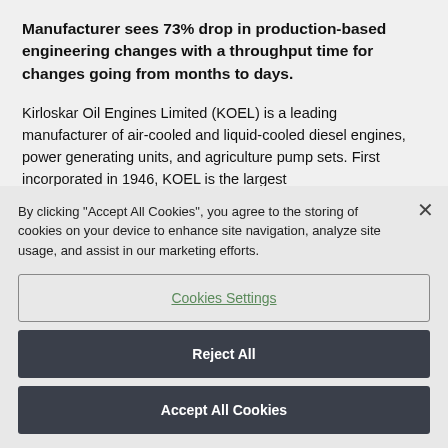Manufacturer sees 73% drop in production-based engineering changes with a throughput time for changes going from months to days.
Kirloskar Oil Engines Limited (KOEL) is a leading manufacturer of air-cooled and liquid-cooled diesel engines, power generating units, and agriculture pump sets. First incorporated in 1946, KOEL is the largest manufacturer of...
By clicking "Accept All Cookies", you agree to the storing of cookies on your device to enhance site navigation, analyze site usage, and assist in our marketing efforts.
Cookies Settings
Reject All
Accept All Cookies